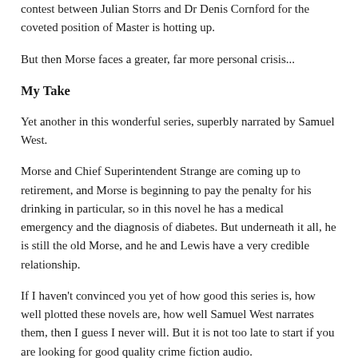contest between Julian Storrs and Dr Denis Cornford for the coveted position of Master is hotting up.
But then Morse faces a greater, far more personal crisis...
My Take
Yet another in this wonderful series, superbly narrated by Samuel West.
Morse and Chief Superintendent Strange are coming up to retirement, and Morse is beginning to pay the penalty for his drinking in particular, so in this novel he has a medical emergency and the diagnosis of diabetes. But underneath it all, he is still the old Morse, and he and Lewis have a very credible relationship.
If I haven't convinced you yet of how good this series is, how well plotted these novels are, how well Samuel West narrates them, then I guess I never will. But it is not too late to start if you are looking for good quality crime fiction audio.
And for me, just one book to go in the series, but I won't be